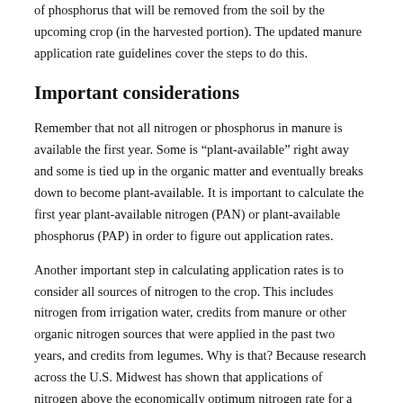of phosphorus that will be removed from the soil by the upcoming crop (in the harvested portion). The updated manure application rate guidelines cover the steps to do this.
Important considerations
Remember that not all nitrogen or phosphorus in manure is available the first year. Some is “plant-available” right away and some is tied up in the organic matter and eventually breaks down to become plant-available. It is important to calculate the first year plant-available nitrogen (PAN) or plant-available phosphorus (PAP) in order to figure out application rates.
Another important step in calculating application rates is to consider all sources of nitrogen to the crop. This includes nitrogen from irrigation water, credits from manure or other organic nitrogen sources that were applied in the past two years, and credits from legumes. Why is that? Because research across the U.S. Midwest has shown that applications of nitrogen above the economically optimum nitrogen rate for a crop significantly increases nitrogen leaching.